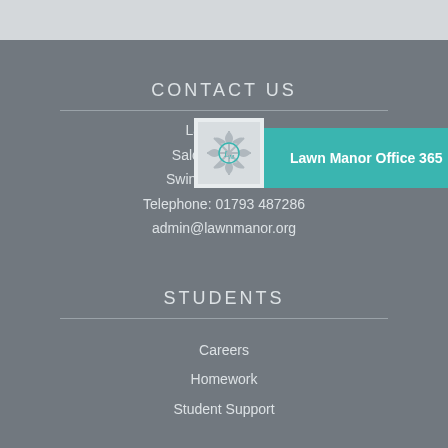CONTACT US
Lawn Manor
Salcombe Grove
Swindon SN3 1ER
Telephone: 01793 487286
admin@lawnmanor.org
[Figure (logo): Lawn Manor Office 365 logo with teal banner overlay]
STUDENTS
Careers
Homework
Student Support